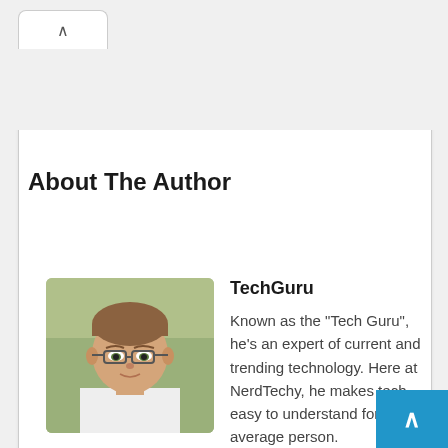^
About The Author
[Figure (photo): Headshot photo of a young man with short brown hair and glasses, wearing a light-colored shirt, with a blurred green background]
TechGuru
Known as the "Tech Guru", he's an expert of current and trending technology. Here at NerdTechy, he makes tech easy to understand for the average person.